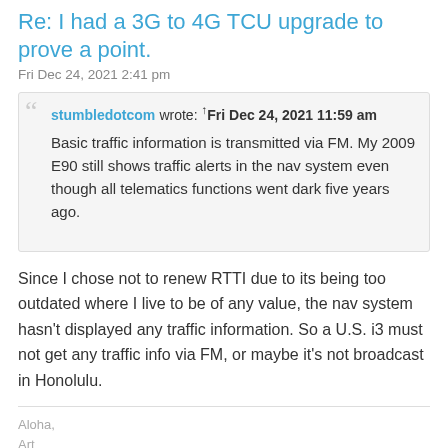Re: I had a 3G to 4G TCU upgrade to prove a point.
Fri Dec 24, 2021 2:41 pm
stumbledotcom wrote: ↑Fri Dec 24, 2021 11:59 am

Basic traffic information is transmitted via FM. My 2009 E90 still shows traffic alerts in the nav system even though all telematics functions went dark five years ago.
Since I chose not to renew RTTI due to its being too outdated where I live to be of any value, the nav system hasn't displayed any traffic information. So a U.S. i3 must not get any traffic info via FM, or maybe it's not broadcast in Honolulu.
Aloha,
Art
[22-04-25 to now] 2019 BMW i3 Imperial Blue Metallic, Giga World